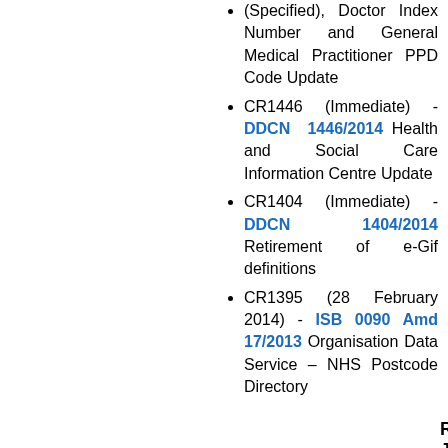(Specified), Doctor Index Number and General Medical Practitioner PPD Code Update
CR1446 (Immediate) - DDCN 1446/2014 Health and Social Care Information Centre Update
CR1404 (Immediate) - DDCN 1404/2014 Retirement of e-Gif definitions
CR1395 (28 February 2014) - ISB 0090 Amd 17/2013 Organisation Data Service – NHS Postcode Directory
Release: January 2014
CR1386 (31 January 2014) - ISB 0090 Amd 9/2013 Special Health Authority